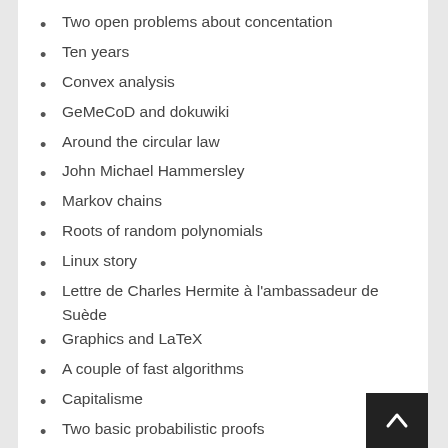Two open problems about concentation
Ten years
Convex analysis
GeMeCoD and dokuwiki
Around the circular law
John Michael Hammersley
Markov chains
Roots of random polynomials
Linux story
Lettre de Charles Hermite à l'ambassadeur de Suède
Graphics and LaTeX
A couple of fast algorithms
Capitalisme
Two basic probabilistic proofs
The new C++ standard and its extensible random number facility
Journal
Changchun – Jilin province – China